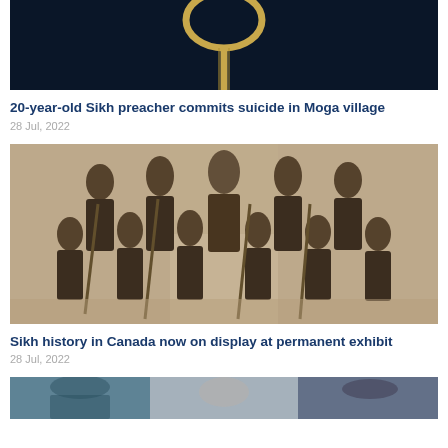[Figure (photo): Partial photo showing a rope noose against a dark blue background]
20-year-old Sikh preacher commits suicide in Moga village
28 Jul, 2022
[Figure (photo): Black and white historical photograph of a group of Sikh men in turbans and military uniforms holding staffs, posed in two rows]
Sikh history in Canada now on display at permanent exhibit
28 Jul, 2022
[Figure (photo): Partial photo at bottom of page, partially cropped]